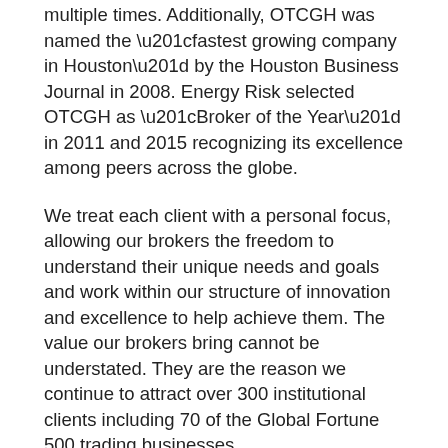multiple times. Additionally, OTCGH was named the “fastest growing company in Houston” by the Houston Business Journal in 2008. Energy Risk selected OTCGH as “Broker of the Year” in 2011 and 2015 recognizing its excellence among peers across the globe.
We treat each client with a personal focus, allowing our brokers the freedom to understand their unique needs and goals and work within our structure of innovation and excellence to help achieve them. The value our brokers bring cannot be understated. They are the reason we continue to attract over 300 institutional clients including 70 of the Global Fortune 500 trading businesses.
Our business model is what sets us apart from the competition. Our brokers are also our partners, allowing them to grow and build their portfolio. Harnessing the power of human capital is just one of the ways OTC Global Holdings excels.